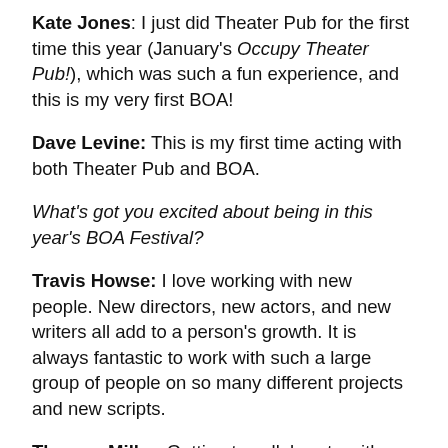Kate Jones: I just did Theater Pub for the first time this year (January's Occupy Theater Pub!), which was such a fun experience, and this is my very first BOA!
Dave Levine: This is my first time acting with both Theater Pub and BOA.
What's got you excited about being in this year's BOA Festival?
Travis Howse: I love working with new people. New directors, new actors, and new writers all add to a person's growth. It is always fantastic to work with such a large group of people on so many different projects and new scripts.
Theresa Miller: Getting to collaborate with a bunch of talented and creative artists has got me pretty pumped